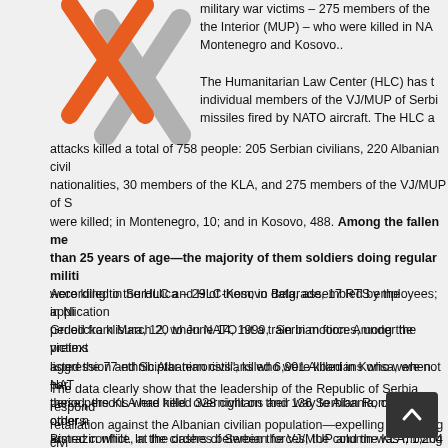[Figure (logo): Logo with orange X and gray X marks overlapping]
military war victims – 275 members of the Interior (MUP) – who were killed in NATO bombings in Serbia, Montenegro and Kosovo..
The Humanitarian Law Center (HLC) has the individual members of the VJ/MUP of Serbia missiles fired by NATO aircraft. The HLC and attacks killed a total of 758 people: 205 Serbian civilians, 220 Albanian civilians, nationalities, 30 members of the KLA, and 275 members of the VJ/MUP of Serbia were killed; in Montenegro, 10; and in Kosovo, 488. Among the fallen members more than 25 years of age—the majority of them soldiers doing regular military service— were killed in Surdulica – 29 of them; in Belgrade, 17 RTS employees; in Nis; in Grdelicka klisura, 12, when NATO hit a train in motion. Among the victims of NATO listed the 77 ethnic Albanian civilians who were killed in Korisa, when NATO these persons were held overnight on their way to Albania, on the orders of Bistrazin while, at the orders of Serbian forces, the column was moving toward 6 members of the VJ who were killed on the bridge in the village of Luzane,
According to the HLC and HLC-Kosovo data, assembled by the application period from March 20 to June 14, 1999, Serbian forces, under the pretext of aggression and Shiptar terrorists", killed 6,901 Albanians who were not part period, the KLA had killed 328 civilians and 136 Serbian Roma and other non-Albanians armed conflict. In the clashes between the VJ/MUP and the KLA, 1,204 members members of the VJ and the MUP of Serbia.
The data clearly show that the leadership of the Republic of Serbia responded retaliation against the Albanian civilian population—expelling and killing civilians. During the NATO attack, in the Gjakova municipality alone VJ and Serbian